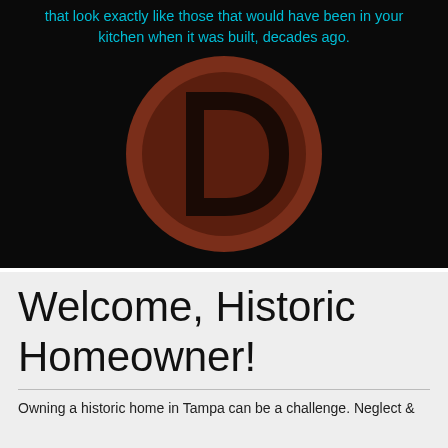that look exactly like those that would have been in your kitchen when it was built, decades ago.
[Figure (logo): Dark brown circle with a large bold letter D in the center, on a black background]
Welcome, Historic Homeowner!
Owning a historic home in Tampa can be a challenge. Neglect &